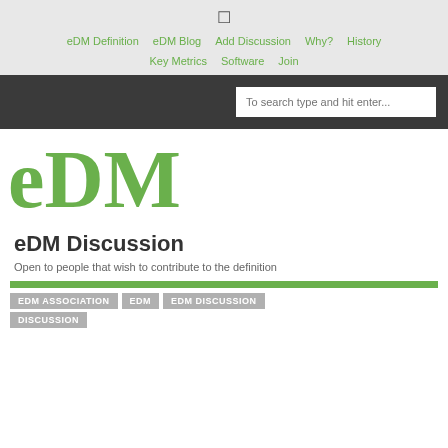☰
eDM Definition | eDM Blog | Add Discussion | Why? | History | Key Metrics | Software | Join
To search type and hit enter...
[Figure (logo): eDM logo in large bold green serif text]
eDM Discussion
Open to people that wish to contribute to the definition
EDM ASSOCIATION | EDM | EDM DISCUSSION | DISCUSSION